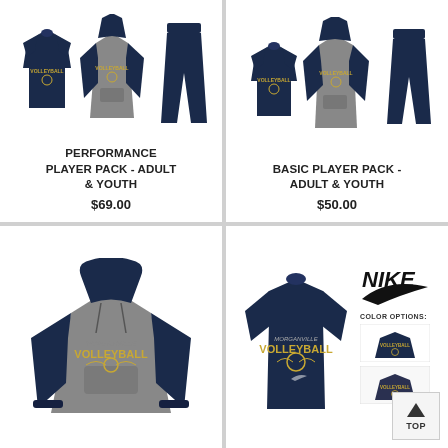[Figure (photo): Performance Player Pack - Adult & Youth: navy t-shirt, gray/navy raglan hoodie, navy sweatpants]
PERFORMANCE PLAYER PACK - ADULT & YOUTH
$69.00
[Figure (photo): Basic Player Pack - Adult & Youth: navy t-shirt, gray/navy hoodie, navy sweatpants]
BASIC PLAYER PACK - ADULT & YOUTH
$50.00
[Figure (photo): Gray and navy raglan pullover hoodie with Volleyball logo]
[Figure (photo): Navy Nike t-shirt with Volleyball logo, Nike swoosh logo, color options shown, scroll to top button]